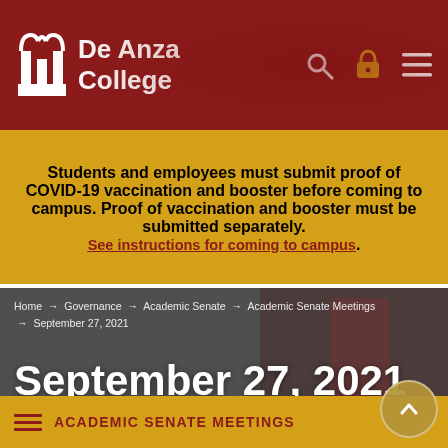[Figure (logo): De Anza College logo with arch icon and wordmark on dark red header bar with search, lock, and menu icons]
Students and employees must submit proof of COVID-19 vaccination and booster before coming to campus. Proof of vaccination and booster must be submitted separately. See instructions for coming to campus.
[Figure (photo): Background photo of a classroom meeting scene with students and a person standing, overlaid with breadcrumb navigation and September 27, 2021 heading]
ACADEMIC SENATE MEETINGS